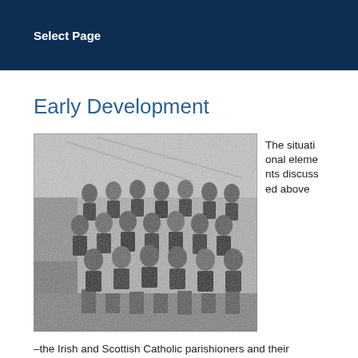Select Page
Early Development
[Figure (photo): Black and white historical group photograph showing approximately 30 men seated and standing in rows inside a room, likely a classroom or hall setting. The men are dressed in dark formal attire typical of early 20th century.]
The situational elements discussed above –the Irish and Scottish Catholic parishioners and their